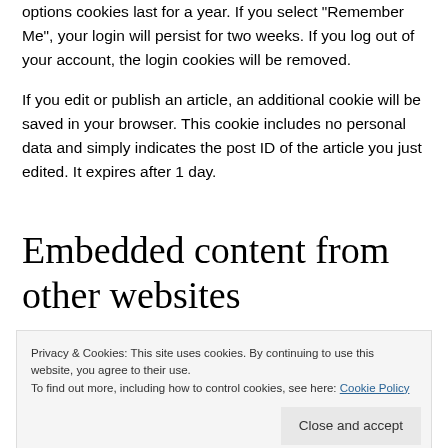options cookies last for a year. If you select "Remember Me", your login will persist for two weeks. If you log out of your account, the login cookies will be removed.
If you edit or publish an article, an additional cookie will be saved in your browser. This cookie includes no personal data and simply indicates the post ID of the article you just edited. It expires after 1 day.
Embedded content from other websites
Privacy & Cookies: This site uses cookies. By continuing to use this website, you agree to their use.
To find out more, including how to control cookies, see here: Cookie Policy
Close and accept